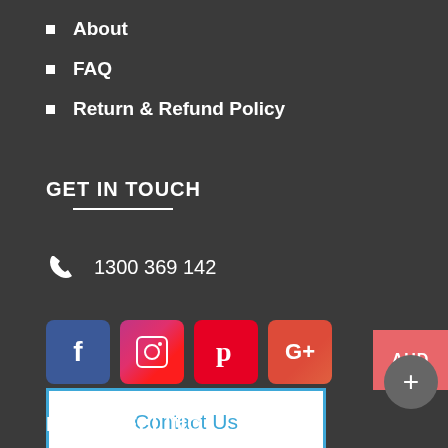About
FAQ
Return & Refund Policy
GET IN TOUCH
1300 369 142
[Figure (infographic): Social media icons: Facebook, Instagram, Pinterest, Google+]
AUD
+
Contact Us
BEST SELLING